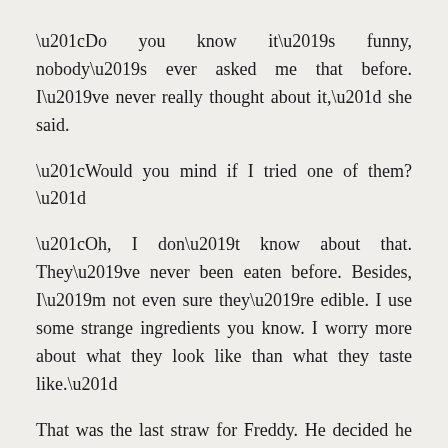“Do you know it’s funny, nobody’s ever asked me that before. I’ve never really thought about it,” she said.
“Would you mind if I tried one of them?”
“Oh, I don’t know about that. They’ve never been eaten before. Besides, I’m not even sure they’re edible. I use some strange ingredients you know. I worry more about what they look like than what they taste like.”
That was the last straw for Freddy. He decided he had just about enough of this world. He’d thought that doing what you want all the time would be a brilliant idea; now he realised it would be positively horrible. The world he had found himself in had become a frightening place. Freddy said, “I think I’d better be getting home